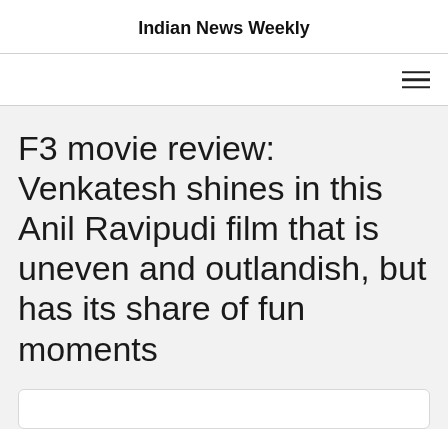Indian News Weekly
F3 movie review: Venkatesh shines in this Anil Ravipudi film that is uneven and outlandish, but has its share of fun moments